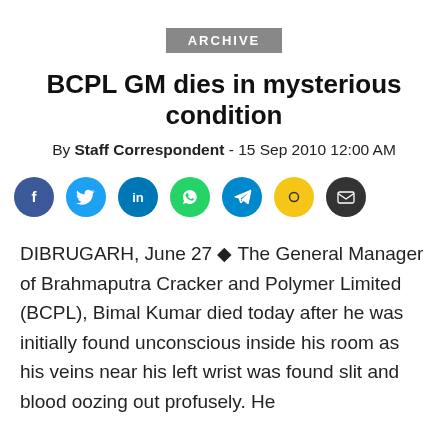ARCHIVE
BCPL GM dies in mysterious condition
By Staff Correspondent - 15 Sep 2010 12:00 AM
[Figure (infographic): Row of social media sharing icons: Facebook, Twitter, LinkedIn, WhatsApp, Telegram, Snapchat, Email]
DIBRUGARH, June 27 ◆ The General Manager of Brahmaputra Cracker and Polymer Limited (BCPL), Bimal Kumar died today after he was initially found unconscious inside his room as his veins near his left wrist was found slit and blood oozing out profusely. He